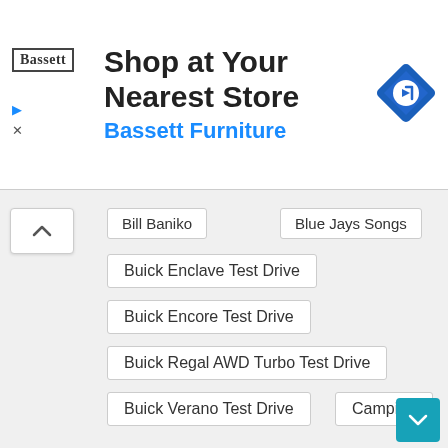[Figure (infographic): Advertisement banner for Bassett Furniture with logo, text 'Shop at Your Nearest Store', subtitle 'Bassett Furniture' in blue, and a blue navigation/directions icon on the right.]
Bill Baniko
Blue Jays Songs
Buick Enclave Test Drive
Buick Encore Test Drive
Buick Regal AWD Turbo Test Drive
Buick Verano Test Drive
Camping
Canadian Media
Ch-ch-changes
Chevrolet Impala Test Drive
Chevrolet Malibu
Chevrolet Tahoe Test Drive
Chevrolet Traverse Test Drive
Chevrolet Trax Test Drive
Comment Pot Pourri
Conan O'Brien
Copenhagen, Denmark